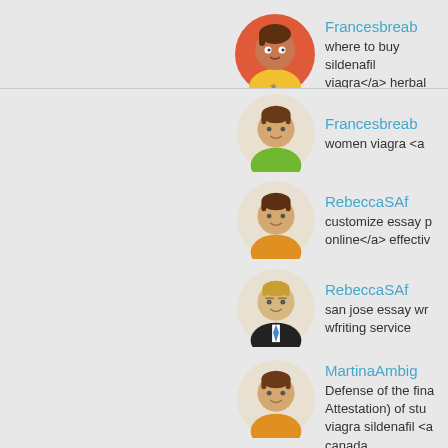[Figure (illustration): Avatar icon: female with red/orange background, brown hair, yellow shirt with star]
Francesbreab
where to buy sildenafil viagra</a> herbal
[Figure (illustration): Avatar icon: male with beige background, brown hair, green shirt]
Francesbreab
women viagra <a
[Figure (illustration): Avatar icon: male with beige background, brown hair, orange shirt]
RebeccaSAf
customize essay p online</a> effectiv
[Figure (illustration): Avatar icon: male with beige background, blonde hair, black suit blue tie]
RebeccaSAf
san jose essay wri wfriting service
[Figure (illustration): Avatar icon: male with beige background, brown hair, orange shirt]
MartinaAmbig
Defense of the fina Attestation) of stu viagra sildenafil <a canada
For evaluation by